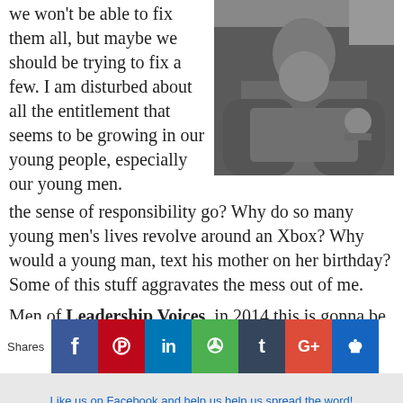we won't be able to fix them all, but maybe we should be trying to fix a few. I am disturbed about all the entitlement that seems to be growing in our young people, especially our young men. Where did the sense of responsibility go? Why do so many young men's lives revolve around an Xbox? Why would a young man, text his mother on her birthday? Some of this stuff aggravates the mess out of me.
[Figure (photo): A young man reclined on a sofa holding a gaming controller (Wii remote), wearing a dark shirt, in a living room setting.]
Men of Leadership Voices, in 2014 this is gonna be my own
[Figure (infographic): Social sharing bar with icons for Facebook, Pinterest, LinkedIn, Evernote, Tumblr, Google+, and a crown/kings icon. A 'Shares' label on the left.]
Like us on Facebook and help us help us spread the word!